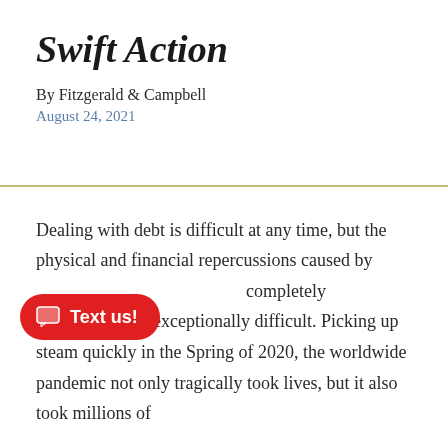Swift Action
By Fitzgerald & Campbell
August 24, 2021
Dealing with debt is difficult at any time, but the physical and financial repercussions caused by [pandemic were] completely unexpected and exceptionally difficult. Picking up steam quickly in the Spring of 2020, the worldwide pandemic not only tragically took lives, but it also took millions of
[Figure (illustration): Red rounded button overlay with chat icon and 'Text us!' label]